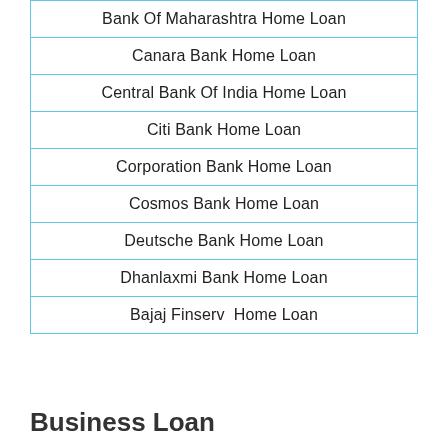| Bank Of Maharashtra Home Loan |
| Canara Bank Home Loan |
| Central Bank Of India Home Loan |
| Citi Bank Home Loan |
| Corporation Bank Home Loan |
| Cosmos Bank Home Loan |
| Deutsche Bank Home Loan |
| Dhanlaxmi Bank Home Loan |
| Bajaj Finserv  Home Loan |
Business Loan